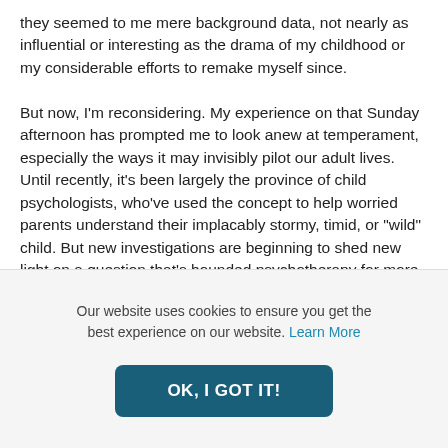they seemed to me mere background data, not nearly as influential or interesting as the drama of my childhood or my considerable efforts to remake myself since.

But now, I'm reconsidering. My experience on that Sunday afternoon has prompted me to look anew at temperament, especially the ways it may invisibly pilot our adult lives. Until recently, it's been largely the province of child psychologists, who've used the concept to help worried parents understand their implacably stormy, timid, or "wild" child. But new investigations are beginning to shed new light on a question that's hounded psychotherapy for more than a century: what's the relationship between nature and nurture, and what does it mean for the human project of change? As we come to understand more about the
Our website uses cookies to ensure you get the best experience on our website. Learn More
OK, I GOT IT!